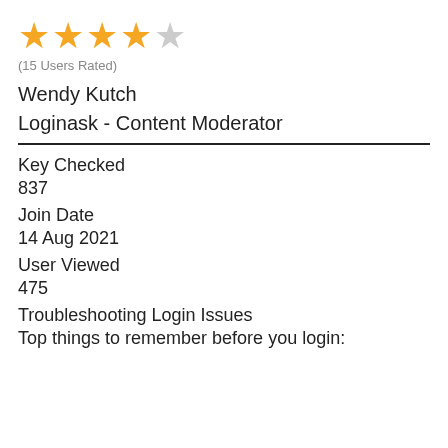[Figure (other): Star rating: 4 out of 5 orange stars, one grey star]
(15 Users Rated)
Wendy Kutch
Loginask - Content Moderator
Key Checked
837
Join Date
14 Aug 2021
User Viewed
475
Troubleshooting Login Issues
Top things to remember before you login: